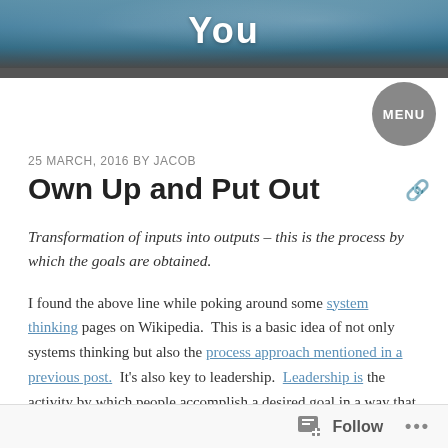[Figure (photo): Header image of water/ocean with 'You' text overlay in white bold font]
MENU
25 MARCH, 2016 BY JACOB
Own Up and Put Out
Transformation of inputs into outputs – this is the process by which the goals are obtained.
I found the above line while poking around some system thinking pages on Wikipedia. This is a basic idea of not only systems thinking but also the process approach mentioned in a previous post. It's also key to leadership. Leadership is the activity by which people accomplish a desired goal in a way that affirms their cherished values. Leadership falls apart In businesses that do not understand their values or
Follow ...